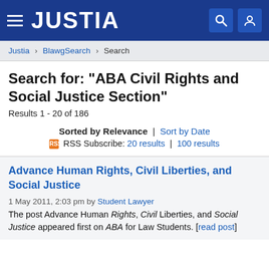JUSTIA
Justia › BlawgSearch › Search
Search for: "ABA Civil Rights and Social Justice Section"
Results 1 - 20 of 186
Sorted by Relevance | Sort by Date
RSS Subscribe: 20 results | 100 results
Advance Human Rights, Civil Liberties, and Social Justice
1 May 2011, 2:03 pm by Student Lawyer
The post Advance Human Rights, Civil Liberties, and Social Justice appeared first on ABA for Law Students. [read post]